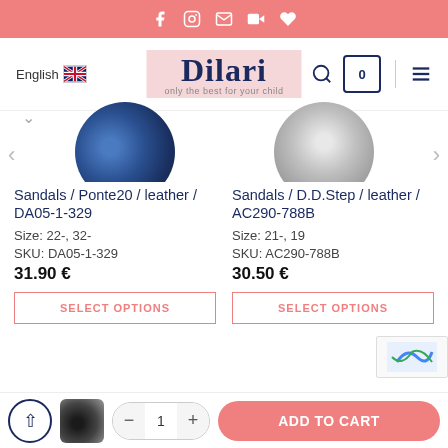Dilari — only the best for your child — English
[Figure (screenshot): Two product images: left shows blue leather sandal (Ponte20), right shows grey leather sandal (D.D.Step), partially visible in circles at top of product listing]
Sandals / Ponte20 / leather / DA05-1-329
Size: 22-, 32-
SKU: DA05-1-329
31.90 €
Sandals / D.D.Step / leather / AC290-788B
Size: 21-, 19
SKU: AC290-788B
30.50 €
SELECT OPTIONS
SELECT OPTIONS
ADD TO CART — quantity 1